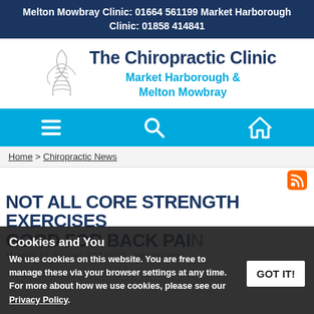Melton Mowbray Clinic: 01664 561199 Market Harborough Clinic: 01858 414841
[Figure (logo): The Chiropractic Clinic logo with spine illustration and subtitle Market Harborough & Melton Mowbray]
[Figure (screenshot): Blue navigation bar with hamburger menu, search, and home icons]
Home > Chiropractic News
[Figure (other): Orange RSS feed icon button]
NOT ALL CORE STRENGTH EXERCISES
GOOD FOR BACK PAIN
Cookies and You
We use cookies on this website. You are free to manage these via your browser settings at any time. For more about how we use cookies, please see our Privacy Policy.
Not all "core-strength" exercises good for spine